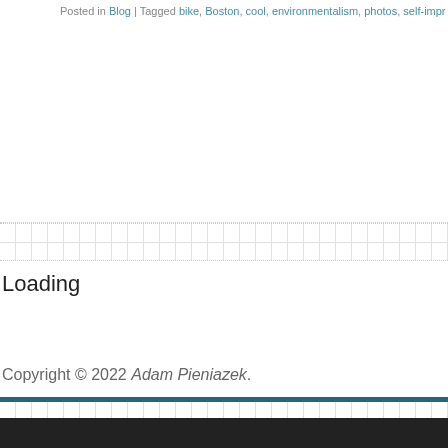Posted in Blog | Tagged bike, Boston, cool, environmentalism, photos, self-impr
Loading
Copyright © 2022 Adam Pieniazek.